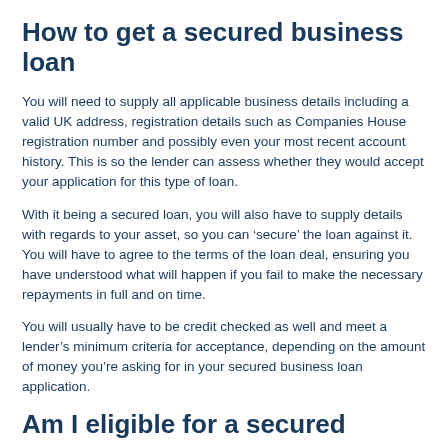How to get a secured business loan
You will need to supply all applicable business details including a valid UK address, registration details such as Companies House registration number and possibly even your most recent account history. This is so the lender can assess whether they would accept your application for this type of loan.
With it being a secured loan, you will also have to supply details with regards to your asset, so you can ‘secure’ the loan against it. You will have to agree to the terms of the loan deal, ensuring you have understood what will happen if you fail to make the necessary repayments in full and on time.
You will usually have to be credit checked as well and meet a lender’s minimum criteria for acceptance, depending on the amount of money you’re asking for in your secured business loan application.
Am I eligible for a secured